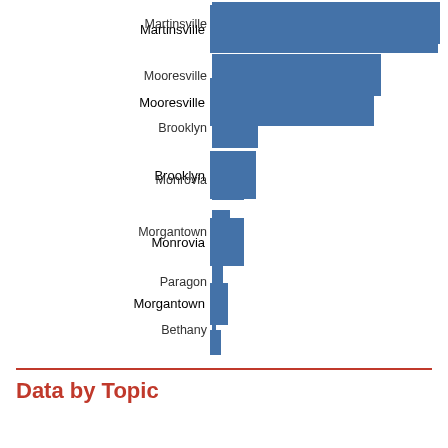[Figure (bar-chart): ]
Data by Topic